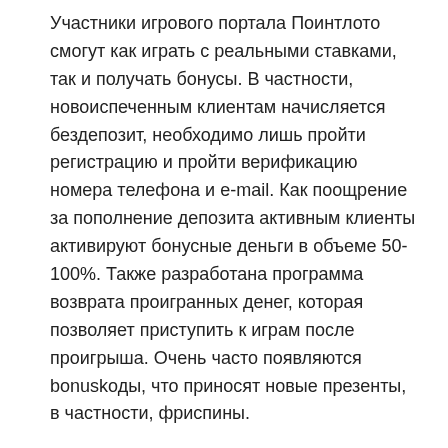Участники игрового портала Поинтлото смогут как играть с реальными ставками, так и получать бонусы. В частности, новоиспеченным клиентам начисляется бездепозит, необходимо лишь пройти регистрацию и пройти верификацию номера телефона и e-mail. Как поощрение за пополнение депозита активным клиенты активируют бонусные деньги в объеме 50-100%. Также разработана программа возврата проигранных денег, которая позволяет приступить к играм после проигрыша. Очень часто появляются bonuskоды, что приносят новые презенты, в частности, фриспины.
Все подарки требуется отыграть для того, чтобы заказать вывод выигранных денег. Всего лишь продолжайте играть на реальные деньги, пока не наберется конкретная сумма ставок.